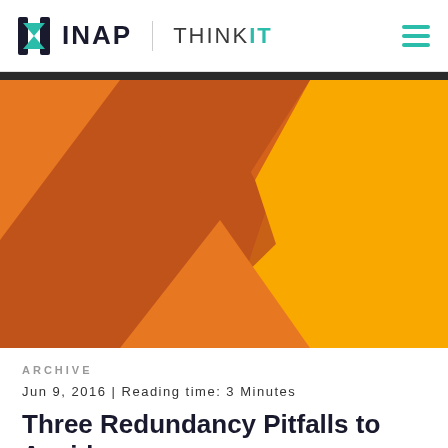INAP THINKIT
[Figure (illustration): Abstract geometric design with orange, dark orange/brown, and yellow triangular shapes on a yellow background, used as a hero banner image.]
ARCHIVE
Jun 9, 2016 | Reading time: 3 Minutes
Three Redundancy Pitfalls to Avoid